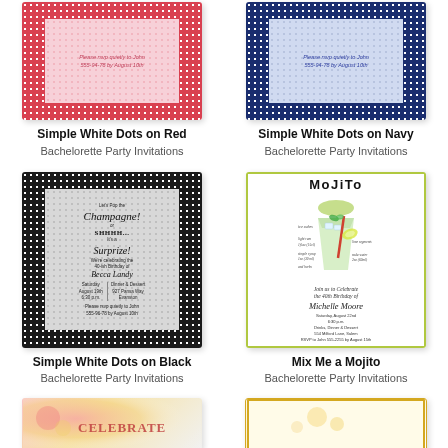[Figure (illustration): Simple White Dots on Red bachelorette party invitation card with red polka dot border and pink center]
Simple White Dots on Red
Bachelorette Party Invitations
[Figure (illustration): Simple White Dots on Navy bachelorette party invitation card with navy polka dot border and light blue center]
Simple White Dots on Navy
Bachelorette Party Invitations
[Figure (illustration): Simple White Dots on Black bachelorette party invitation card - Let's Pop the Champagne! or SHHHH... It's a Surprize! celebrating 40-ish Birthday of Becca Landy]
Simple White Dots on Black
Bachelorette Party Invitations
[Figure (illustration): Mix Me a Mojito bachelorette party invitation with illustrated mojito cocktail glass, handwritten recipe notes, Join us to Celebrate the 40th Birthday of Michelle Moore]
Mix Me a Mojito
Bachelorette Party Invitations
[Figure (illustration): Partial view of watercolor style invitation card at bottom left]
[Figure (illustration): Partial view of golden border invitation card at bottom right]